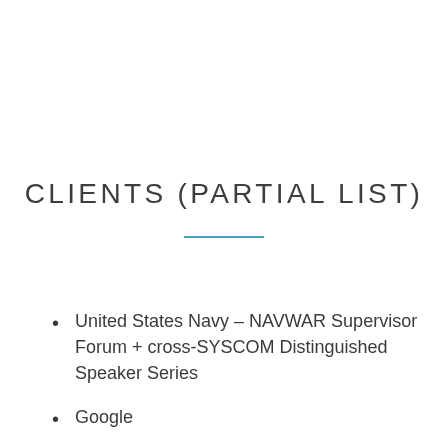CLIENTS (PARTIAL LIST)
United States Navy – NAVWAR Supervisor Forum + cross-SYSCOM Distinguished Speaker Series
Google